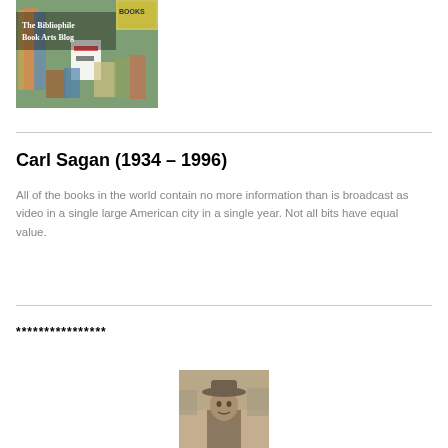[Figure (photo): The Bibliophile Book Arts Blog logo/banner image showing books and craft items with white text overlay]
Carl Sagan (1934 – 1996)
All of the books in the world contain no more information than is broadcast as video in a single large American city in a single year. Not all bits have equal value.
****************
[Figure (photo): Black and white photograph of a person wearing a cowboy hat]